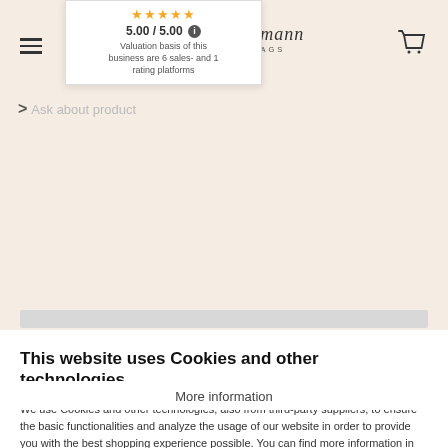[Figure (screenshot): Rating popup showing 5 gold stars, score 5.00/5.00 with info icon, and text 'Valuation basis of this business are 6 sales- and 1 rating platforms']
[Figure (logo): Kerstin Kellermann UNIQUE GOLF BAGS logo in script and uppercase text]
[Figure (screenshot): Shopping cart icon top right]
> Ask about product
This website uses Cookies and other technologies.
We use Cookies and other technologies, also from third-party suppliers, to ensure the basic functionalities and analyze the usage of our website in order to provide you with the best shopping experience possible. You can find more information in our Privacy Notice.
Accept all
More information